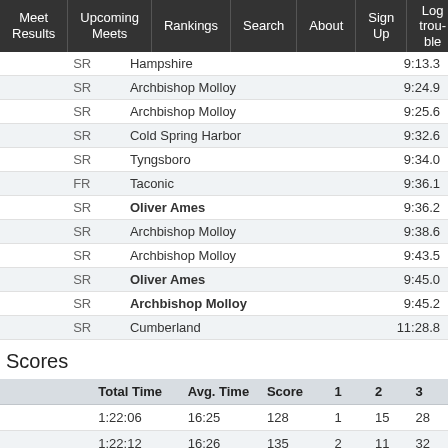Meet Results | Upcoming Meets | Rankings | Search | About | Sign Up | Log trouble
|  | Grade | School |  | Time |
| --- | --- | --- | --- | --- |
|  | SR | Hampshire |  | 9:13.3 |
|  | SR | Archbishop Molloy |  | 9:24.9 |
|  | SR | Archbishop Molloy |  | 9:25.6 |
|  | SR | Cold Spring Harbor |  | 9:32.6 |
|  | SR | Tyngsboro |  | 9:34.0 |
|  | FR | Taconic |  | 9:36.1 |
|  | SR | Oliver Ames |  | 9:36.2 |
|  | SR | Archbishop Molloy |  | 9:38.6 |
|  | SR | Archbishop Molloy |  | 9:43.5 |
|  | SR | Oliver Ames |  | 9:45.0 |
|  | SR | Archbishop Molloy |  | 9:45.2 |
|  | SR | Cumberland |  | 11:28.8 |
Scores
|  | Total Time | Avg. Time | Score | 1 | 2 | 3 |
| --- | --- | --- | --- | --- | --- | --- |
|  | 1:22:06 | 16:25 | 128 | 1 | 15 | 28 |
|  | 1:22:12 | 16:26 | 135 | 2 | 11 | 32 |
|  | 1:22:54 | 16:34 | 141 | 21 | 22 | 24 |